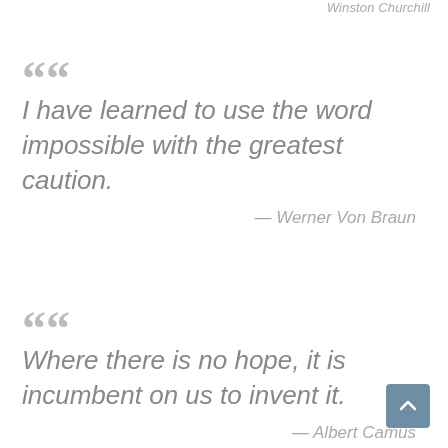Winston Churchill
“I have learned to use the word impossible with the greatest caution.” — Werner Von Braun
“Where there is no hope, it is incumbent on us to invent it.” — Albert Camus